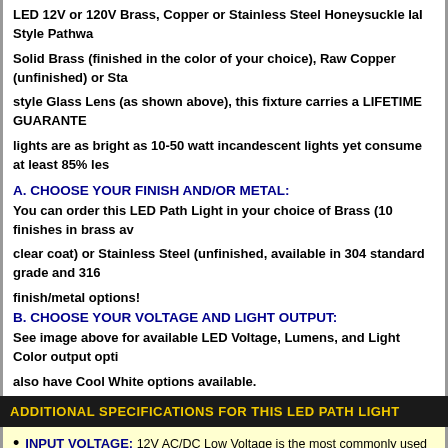LED 12V or 120V Brass, Copper or Stainless Steel Honeysuckle IaI Style Pathway Solid Brass (finished in the color of your choice), Raw Copper (unfinished) or Stainless style Glass Lens (as shown above), this fixture carries a LIFETIME GUARANTEE. Our lights are as bright as 10-50 watt incandescent lights yet consume at least 85% les
A. CHOOSE YOUR FINISH AND/OR METAL:
You can order this LED Path Light in your choice of Brass (10 finishes in brass available, clear coat) or Stainless Steel (unfinished, available in 304 standard grade and 316 finish/metal options!
B. CHOOSE YOUR VOLTAGE AND LIGHT OUTPUT:
See image above for available LED Voltage, Lumens, and Light Color output options also have Cool White options available.
ADDITIONAL SPECIFICATIONS FOR THIS LED PATH LIGHT
INPUT VOLTAGE: 12V AC/DC Low Voltage is the most commonly used voltage for for new installations. This LED Path Light is also optionally available in 120VAC Line locations where existing conduit is already ran to the location of your fixture. 12V low install new low voltage fixtures if none are currently installed!
MOUNTING OPTIONS (DIFF): ...